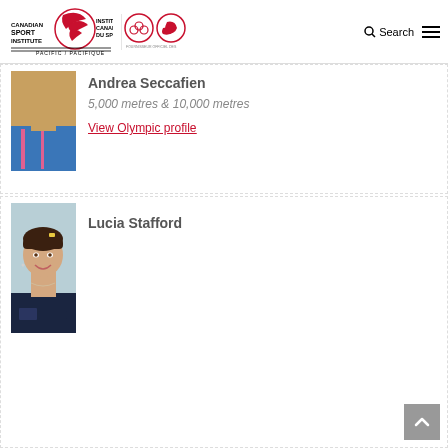Canadian Sport Institute | Institut Canadien du Sport – Pacific/Pacifique | Search | Menu
[Figure (photo): Partial photo of Andrea Seccafien in blue athletic wear]
Andrea Seccafien
5,000 metres & 10,000 metres
View Olympic profile
[Figure (photo): Photo of Lucia Stafford smiling, wearing a dark navy Toronto Varsity Blues polo shirt]
Lucia Stafford